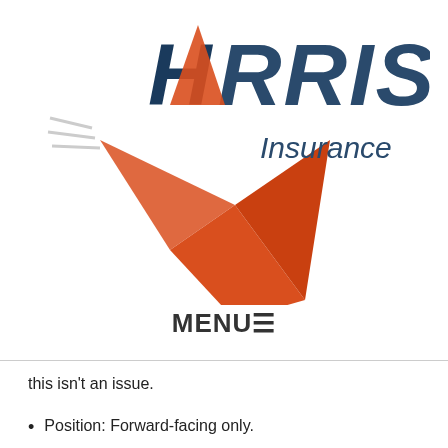[Figure (logo): Harris Insurance logo with stylized star/lightning bolt in orange and dark navy/teal text reading HARRIS Insurance]
MENU☰
this isn't an issue.
Position: Forward-facing only.